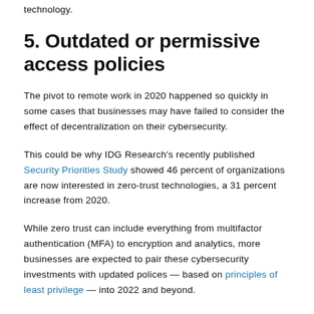technology.
5. Outdated or permissive access policies
The pivot to remote work in 2020 happened so quickly in some cases that businesses may have failed to consider the effect of decentralization on their cybersecurity.
This could be why IDG Research's recently published Security Priorities Study showed 46 percent of organizations are now interested in zero-trust technologies, a 31 percent increase from 2020.
While zero trust can include everything from multifactor authentication (MFA) to encryption and analytics, more businesses are expected to pair these cybersecurity investments with updated polices — based on principles of least privilege — into 2022 and beyond.